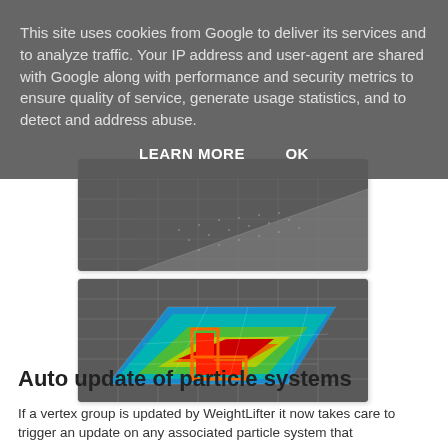[Figure (screenshot): 3D viewport showing a gray mesh/grid surface with a triangular flat plane, partially visible behind the cookie banner.]
[Figure (screenshot): 3D viewport showing a gray grid floor with a flat surface displaying a heat-map texture: blue edges, green mid-area, and a red/orange L-shaped region in the center.]
This site uses cookies from Google to deliver its services and to analyze traffic. Your IP address and user-agent are shared with Google along with performance and security metrics to ensure quality of service, generate usage statistics, and to detect and address abuse.
LEARN MORE    OK
Auto update of particle systems
If a vertex group is updated by WeightLifter it now takes care to trigger an update on any associated particle system that